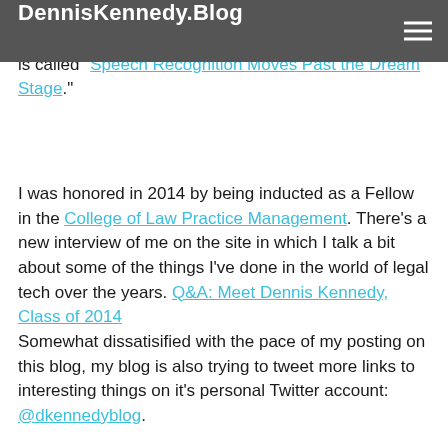DennisKennedy.Blog
My most recent ABA Journal Kennedy on Tech column is called "Speech Recognition Moves Past the Dream Stage."
I was honored in 2014 by being inducted as a Fellow in the College of Law Practice Management. There's a new interview of me on the site in which I talk a bit about some of the things I've done in the world of legal tech over the years. Q&A: Meet Dennis Kennedy, Class of 2014
Somewhat dissatisified with the pace of my posting on this blog, my blog is also trying to tweet more links to interesting things on it's personal Twitter account: @dkennedyblog.